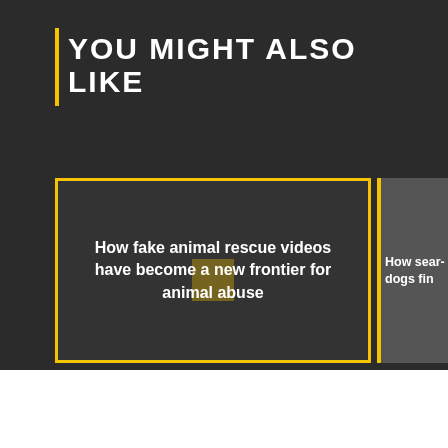YOU MIGHT ALSO LIKE
How fake animal rescue videos have become a new frontier for animal abuse
How sear... dogs fin...